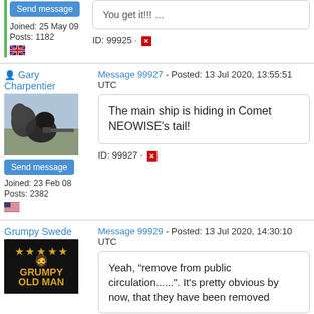Joined: 25 May 09
Posts: 1182
ID: 99925
Gary Charpentier
Message 99927 - Posted: 13 Jul 2020, 13:55:51 UTC
The main ship is hiding in Comet NEOWISE's tail!
Joined: 23 Feb 08
Posts: 2382
ID: 99927
Grumpy Swede
Message 99929 - Posted: 13 Jul 2020, 14:30:10 UTC
Yeah, "remove from public circulation......". It's pretty obvious by now, that they have been removed